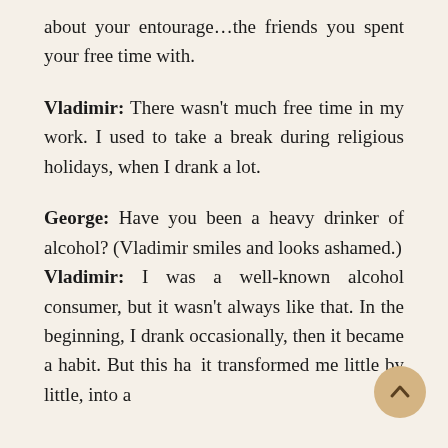about your entourage…the friends you spent your free time with.
Vladimir: There wasn't much free time in my work. I used to take a break during religious holidays, when I drank a lot.
George: Have you been a heavy drinker of alcohol? (Vladimir smiles and looks ashamed.)
Vladimir: I was a well-known alcohol consumer, but it wasn't always like that. In the beginning, I drank occasionally, then it became a habit. But this habit transformed me little by little, into a